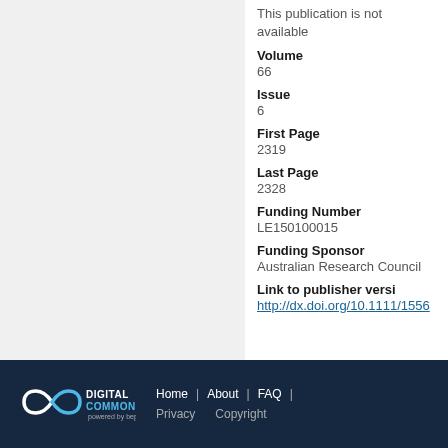This publication is not available
Volume
66
Issue
6
First Page
2319
Last Page
2328
Funding Number
LE150100015
Funding Sponsor
Australian Research Council
Link to publisher versi
http://dx.doi.org/10.1111/1556
Digital Commons powered by bepress | Home | About | FAQ | Privacy | Copyright